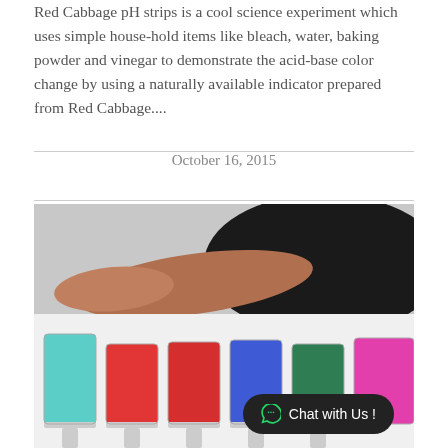Red Cabbage pH strips is a cool science experiment which uses simple house-hold items like bleach, water, baking powder and vinegar to demonstrate the acid-base color change by using a naturally available indicator prepared from Red Cabbage....
October 16, 2015
[Figure (photo): A person reaching over a row of wine glasses filled with differently colored liquids (teal/cyan, red, red, blue, dark green, pink/magenta), demonstrating red cabbage pH indicator color changes.]